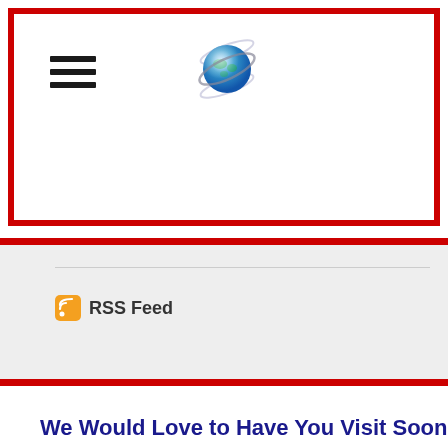[Figure (screenshot): Website header with hamburger menu icon on the left and a globe/internet explorer logo icon in the center, inside a red-bordered white box]
[Figure (screenshot): Gray section with a horizontal divider line and an RSS Feed link with orange RSS icon]
We Would Love to Have You Visit Soon!
[Figure (screenshot): Social media icons: Twitter bird, RSS feed, and Vimeo V, all in dark navy blue]